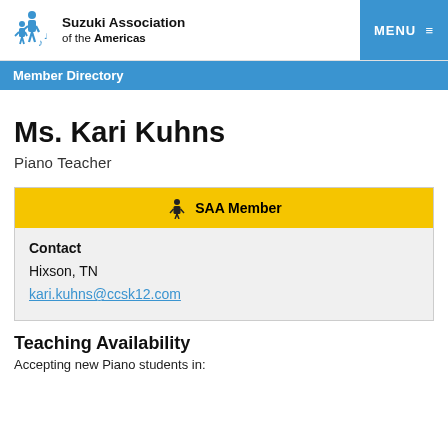Suzuki Association of the Americas
Member Directory
Ms. Kari Kuhns
Piano Teacher
SAA Member
Contact
Hixson, TN
kari.kuhns@ccsk12.com
Teaching Availability
Accepting new Piano students in: